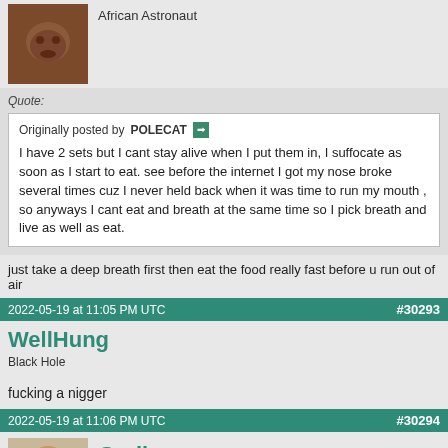African Astronaut
Quote: Originally posted by POLECAT — I have 2 sets but I cant stay alive when I put them in, I suffocate as soon as I start to eat. see before the internet I got my nose broke several times cuz I never held back when it was time to run my mouth , so anyways I cant eat and breath at the same time so I pick breath and live as well as eat.
just take a deep breath first then eat the food really fast before u run out of air
2022-05-19 at 11:05 PM UTC   #30293
WellHung
Black Hole
fucking a nigger
2022-05-19 at 11:06 PM UTC   #30294
Grylls
Cum Looking Faggot [abrade this vocal tread-softly]